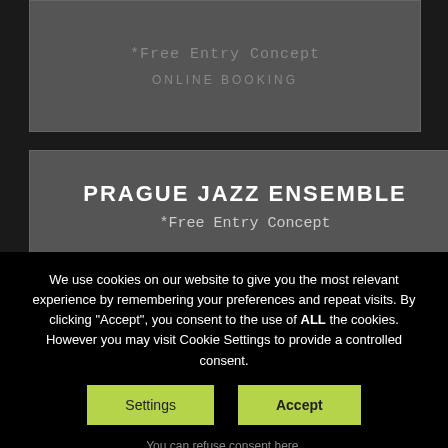*Free Entry Concept
ONLINE BOOKING
PRAGUE JAZZ ENSEMBLE
*Free Entry Concept
ONLINE BOOKING
MAYFLOWERS
We use cookies on our website to give you the most relevant experience by remembering your preferences and repeat visits. By clicking "Accept", you consent to the use of ALL the cookies. However you may visit Cookie Settings to provide a controlled consent.
Settings
Accept
You can refuse consent here.